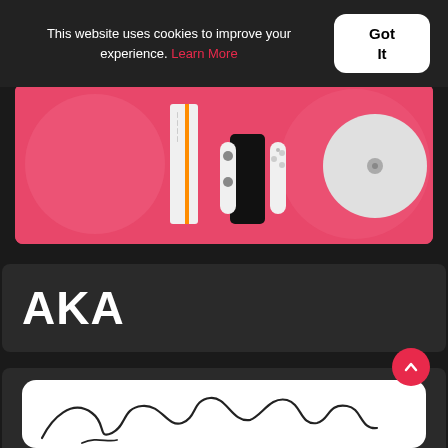This website uses cookies to improve your experience. Learn More
Got It
[Figure (photo): Product banner showing Nintendo Switch OLED console and accessories on a pink/coral background]
AKA
[Figure (photo): White card with handwritten signature visible at bottom edge]
[Figure (other): Red circular scroll-to-top button with upward chevron arrow]